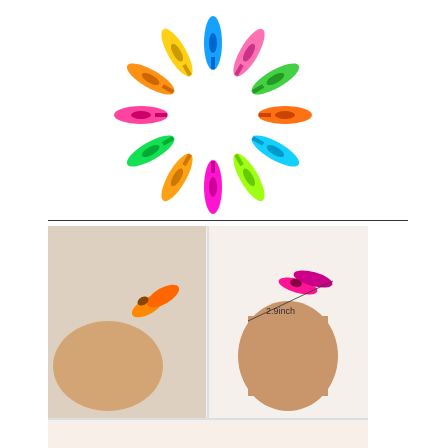[Figure (photo): Colorful plastic clothespins/clips arranged in a sunburst/circular pattern on white background, showing multiple colors: pink, orange, green, blue, yellow]
[Figure (photo): Collage of four photos showing colorful mini plastic clothespins being held in hands, with a measurement annotation showing '2.9inch', demonstrating the small size of the clips in various colors]
Yansanido – Ideal for clothing in the laundry room or closet for towels in the bathroom and for plastic bags and other things in the kitchen Work perfectly and repeatly for outdoor or indoor use Multipurpose clips for clothes line bag sealing paper clipsuse them on chip bags clothes pins bookmarks hanging messages document holders road trips and much more Dry your